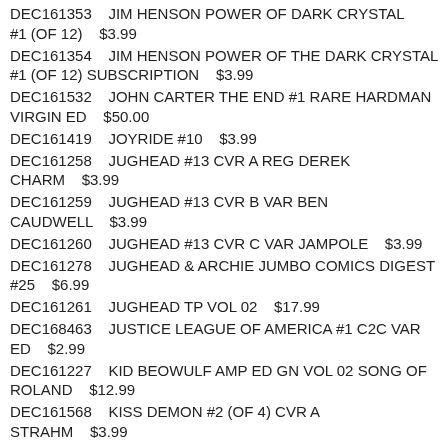DEC161353    JIM HENSON POWER OF DARK CRYSTAL #1 (OF 12)    $3.99
DEC161354    JIM HENSON POWER OF THE DARK CRYSTAL #1 (OF 12) SUBSCRIPTION    $3.99
DEC161532    JOHN CARTER THE END #1 RARE HARDMAN VIRGIN ED    $50.00
DEC161419    JOYRIDE #10    $3.99
DEC161258    JUGHEAD #13 CVR A REG DEREK CHARM    $3.99
DEC161259    JUGHEAD #13 CVR B VAR BEN CAUDWELL    $3.99
DEC161260    JUGHEAD #13 CVR C VAR JAMPOLE    $3.99
DEC161278    JUGHEAD & ARCHIE JUMBO COMICS DIGEST #25    $6.99
DEC161261    JUGHEAD TP VOL 02    $17.99
DEC168463    JUSTICE LEAGUE OF AMERICA #1 C2C VAR ED    $2.99
DEC161227    KID BEOWULF AMP ED GN VOL 02 SONG OF ROLAND    $12.99
DEC161568    KISS DEMON #2 (OF 4) CVR A STRAHM    $3.99